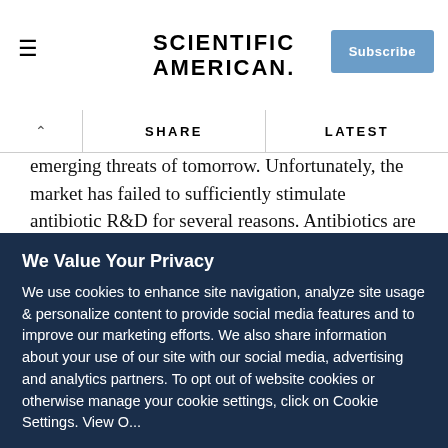SCIENTIFIC AMERICAN
emerging threats of tomorrow. Unfortunately, the market has failed to sufficiently stimulate antibiotic R&D for several reasons. Antibiotics are difficult and costly to develop. Antibiotics are typically priced low compared to other new drugs, used for a short duration, and held in reserve to protect their utility, making them far less economically viable investments for companies than other types of drugs. IDSA urges the UN to help pool global resources to provide
We Value Your Privacy
We use cookies to enhance site navigation, analyze site usage & personalize content to provide social media features and to improve our marketing efforts. We also share information about your use of our site with our social media, advertising and analytics partners. To opt out of website cookies or otherwise manage your cookie settings, click on Cookie Settings. View O...